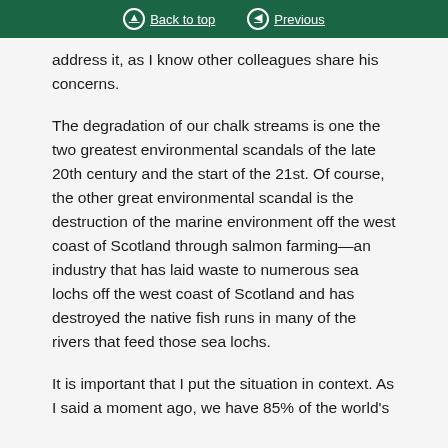Back to top | Previous
...hope that both the Minister and him to able to address it, as I know other colleagues share his concerns.
The degradation of our chalk streams is one the two greatest environmental scandals of the late 20th century and the start of the 21st. Of course, the other great environmental scandal is the destruction of the marine environment off the west coast of Scotland through salmon farming—an industry that has laid waste to numerous sea lochs off the west coast of Scotland and has destroyed the native fish runs in many of the rivers that feed those sea lochs.
It is important that I put the situation in context. As I said a moment ago, we have 85% of the world's